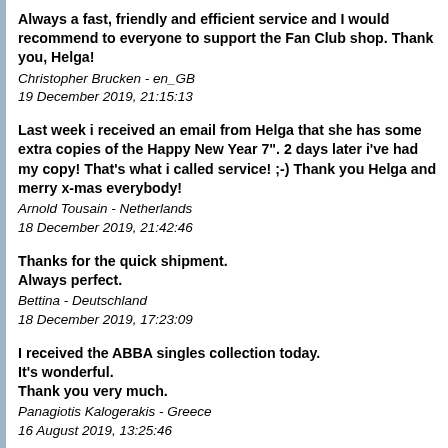Always a fast, friendly and efficient service and I would recommend to everyone to support the Fan Club shop. Thank you, Helga!
Christopher Brucken - en_GB
19 December 2019, 21:15:13
Last week i received an email from Helga that she has some extra copies of the Happy New Year 7". 2 days later i've had my copy! That's what i called service! ;-) Thank you Helga and merry x-mas everybody!
Arnold Tousain - Netherlands
18 December 2019, 21:42:46
Thanks for the quick shipment. Always perfect.
Bettina - Deutschland
18 December 2019, 17:23:09
I received the ABBA singles collection today. It's wonderful. Thank you very much.
Panagiotis Kalogerakis - Greece
16 August 2019, 13:25:46
Package received today, very well wrapped, very